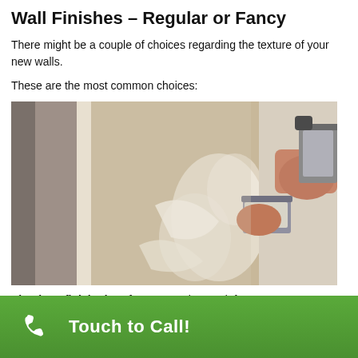Wall Finishes – Regular or Fancy
There might be a couple of choices regarding the texture of your new walls.
These are the most common choices:
[Figure (photo): A person's hand using a putty knife or trowel to apply joint compound or plaster to a drywall surface, showing textured finish work in progress.]
Simply unfinished surface – merely taped, for
Touch to Call!